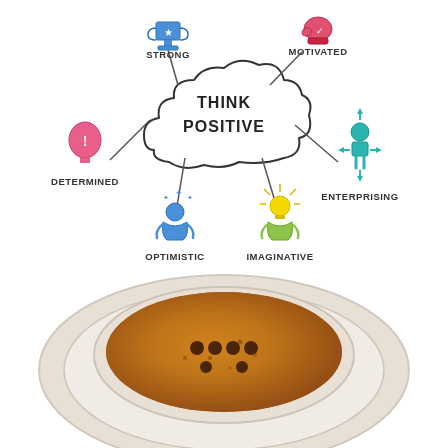[Figure (infographic): Think Positive infographic: cloud shape in center with text 'THINK POSITIVE', surrounded by 6 labeled icons with arrows pointing outward — STRONG (blue trophy icon, top center-left), MOTIVATED (red boxing glove icon, top right), DETERMINED (pink head with exclamation icon, left), ENTERPRISING (teal person with arrows icon, right), OPTIMISTIC (blue person with stars icon, bottom center-left), IMAGINATIVE (yellow person with lightbulb icon, bottom center-right). Below the infographic is a photo of a coffee cup saucer viewed from above showing espresso with a smiley face pattern made of dark spots.]